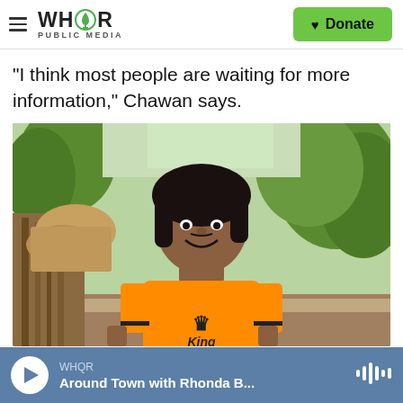WHQR PUBLIC MEDIA | Donate
"I think most people are waiting for more information," Chawan says.
[Figure (photo): A teenage boy wearing an orange t-shirt with a crown 'King' graphic, smiling and standing outdoors surrounded by tropical plants and a rustic wooden fence.]
WHQR | Around Town with Rhonda B...